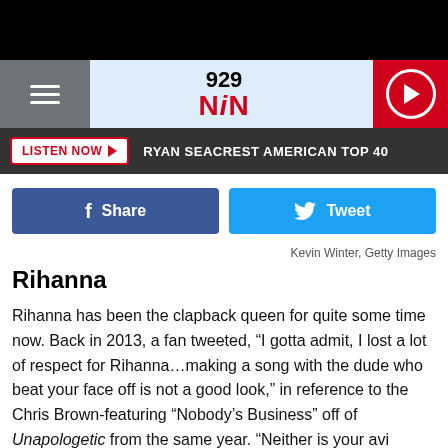[Figure (screenshot): 929 NIN radio station navigation header with hamburger menu on left, 929 NIN logo in center, and red play button on right]
LISTEN NOW   RYAN SEACREST AMERICAN TOP 40
[Figure (infographic): Facebook Share button (blue) and Twitter Tweet button (light blue)]
Kevin Winter, Getty Images
Rihanna
Rihanna has been the clapback queen for quite some time now. Back in 2013, a fan tweeted, “I gotta admit, I lost a lot of respect for Rihanna…making a song with the dude who beat your face off is not a good look,” in reference to the Chris Brown-featuring “Nobody’s Business” off of Unapologetic from the same year. “Neither is your avi #clapback,” the singer wrote in response. Ouch!